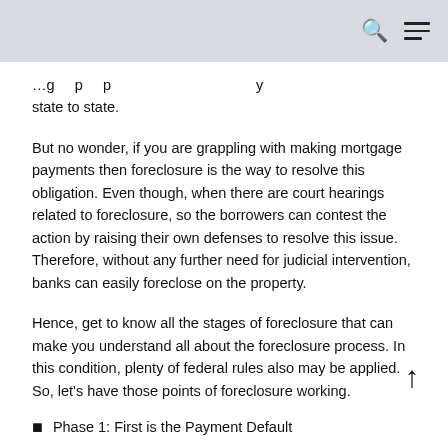…g…p…p…y state to state.
But no wonder, if you are grappling with making mortgage payments then foreclosure is the way to resolve this obligation. Even though, when there are court hearings related to foreclosure, so the borrowers can contest the action by raising their own defenses to resolve this issue. Therefore, without any further need for judicial intervention, banks can easily foreclose on the property.
Hence, get to know all the stages of foreclosure that can make you understand all about the foreclosure process. In this condition, plenty of federal rules also may be applied. So, let's have those points of foreclosure working.
Phase 1: First is the Payment Default